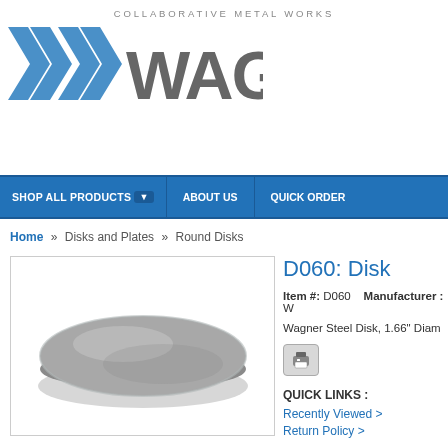COLLABORATIVE METAL WORKS
[Figure (logo): Wagner Collaborative Metal Works logo with blue X mark and WAGNER text]
SHOP ALL PRODUCTS | ABOUT US | QUICK ORDER
Home » Disks and Plates » Round Disks
[Figure (photo): Steel disk, round, flat, 1.66 inch diameter, metallic gray color]
D060: Disk
Item #: D060   Manufacturer : W
Wagner Steel Disk, 1.66" Diam
QUICK LINKS :
Recently Viewed >
Return Policy >